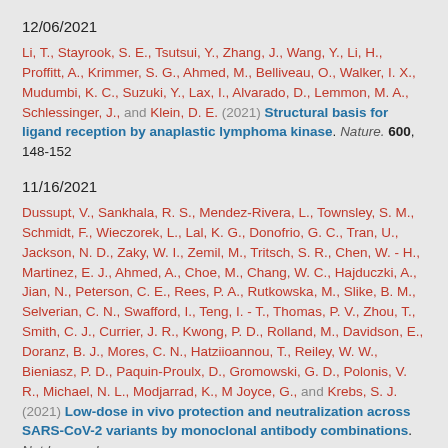12/06/2021
Li, T., Stayrook, S. E., Tsutsui, Y., Zhang, J., Wang, Y., Li, H., Proffitt, A., Krimmer, S. G., Ahmed, M., Belliveau, O., Walker, I. X., Mudumbi, K. C., Suzuki, Y., Lax, I., Alvarado, D., Lemmon, M. A., Schlessinger, J., and Klein, D. E. (2021) Structural basis for ligand reception by anaplastic lymphoma kinase. Nature. 600, 148-152
11/16/2021
Dussupt, V., Sankhala, R. S., Mendez-Rivera, L., Townsley, S. M., Schmidt, F., Wieczorek, L., Lal, K. G., Donofrio, G. C., Tran, U., Jackson, N. D., Zaky, W. I., Zemil, M., Tritsch, S. R., Chen, W. - H., Martinez, E. J., Ahmed, A., Choe, M., Chang, W. C., Hajduczki, A., Jian, N., Peterson, C. E., Rees, P. A., Rutkowska, M., Slike, B. M., Selverian, C. N., Swafford, I., Teng, I. - T., Thomas, P. V., Zhou, T., Smith, C. J., Currier, J. R., Kwong, P. D., Rolland, M., Davidson, E., Doranz, B. J., Mores, C. N., Hatziioannou, T., Reiley, W. W., Bieniasz, P. D., Paquin-Proulx, D., Gromowski, G. D., Polonis, V. R., Michael, N. L., Modjarrad, K., M Joyce, G., and Krebs, S. J. (2021) Low-dose in vivo protection and neutralization across SARS-CoV-2 variants by monoclonal antibody combinations. Nat Immunol. 10.1038/s41590-021-01068-z